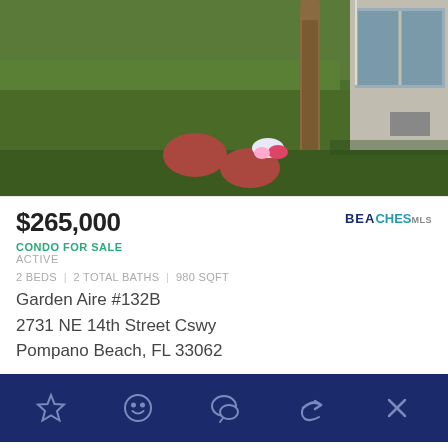[Figure (photo): Exterior photo of a condo property showing green grass lawn, red circular stepping stones, a palm tree trunk, white building with sliding glass door/window visible, and small flowers]
$265,000
CONDO FOR SALE
ACTIVE
2 BEDS | 2 TOTAL BATHS | 980 SQFT
Garden Aire #132B
2731 NE 14th Street Cswy
Pompano Beach, FL 33062
[Figure (infographic): Dark navy action bar with 5 icons: star (favorite), smiley face, chat bubble, share arrow, and X (close)]
OPEN HOUSE SAT, SEP 10, 4 PM UTC
Click to Call us.